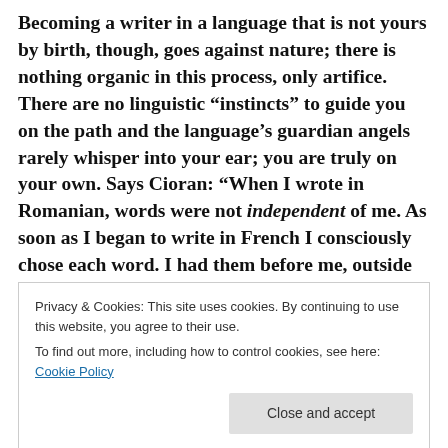Becoming a writer in a language that is not yours by birth, though, goes against nature; there is nothing organic in this process, only artifice. There are no linguistic “instincts” to guide you on the path and the language’s guardian angels rarely whisper into your ear; you are truly on your own. Says Cioran: “When I wrote in Romanian, words were not independent of me. As soon as I began to write in French I consciously chose each word. I had them before me, outside of me, each in its place. And I chose them: now I’ll take you, then you.”
Privacy & Cookies: This site uses cookies. By continuing to use this website, you agree to their use.
To find out more, including how to control cookies, see here: Cookie Policy